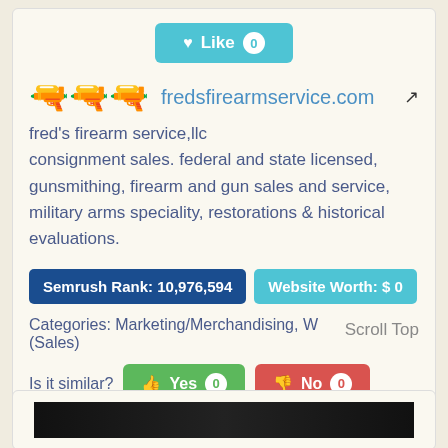[Figure (other): Like button with heart icon and count 0]
fredsfirearmservice.com
fred's firearm service,llc consignment sales. federal and state licensed, gunsmithing, firearm and gun sales and service, military arms speciality, restorations & historical evaluations.
Semrush Rank: 10,976,594
Website Worth: $ 0
Categories: Marketing/Merchandising, W (Sales)
Scroll Top
Is it similar?
Yes 0
No 0
[Figure (screenshot): Screenshot of fredsfirearmservice.com website thumbnail]